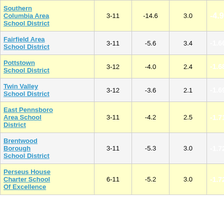| School District | Grades | Col3 | Col4 | Col5 | Col6 |
| --- | --- | --- | --- | --- | --- |
| Southern Columbia Area School District | 3-11 | -14.6 | 3.0 | -4.92 | 5... |
| Fairfield Area School District | 3-11 | -5.6 | 3.4 | -1.66 |  |
| Pottstown School District | 3-12 | -4.0 | 2.4 | -1.68 |  |
| Twin Valley School District | 3-12 | -3.6 | 2.1 | -1.69 |  |
| East Pennsboro Area School District | 3-11 | -4.2 | 2.5 | -1.71 |  |
| Brentwood Borough School District | 3-11 | -5.3 | 3.0 | -1.72 |  |
| Perseus House Charter School Of Excellence | 6-11 | -5.2 | 3.0 | -1.72 |  |